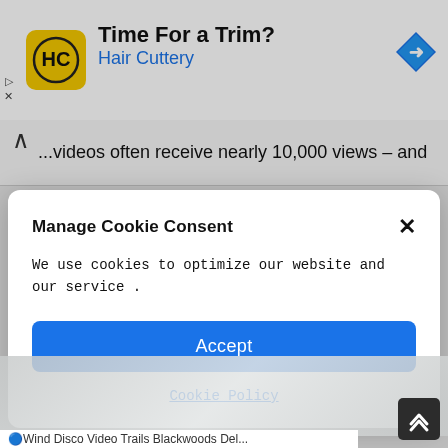[Figure (screenshot): Advertisement banner for Hair Cuttery showing logo, 'Time For a Trim?' headline, and navigation icon]
...videos often receive nearly 10,000 views – and
Manage Cookie Consent
We use cookies to optimize our website and our service .
Accept
Cookie Policy
[Figure (photo): Background image area partially visible below the cookie consent modal]